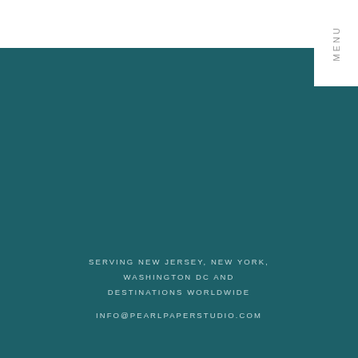« Older Posts
MENU
[Figure (other): Solid teal/dark cyan background block filling the lower portion of the page]
SERVING NEW JERSEY, NEW YORK, WASHINGTON DC AND DESTINATIONS WORLDWIDE
INFO@PEARLPAPERSTUDIO.COM